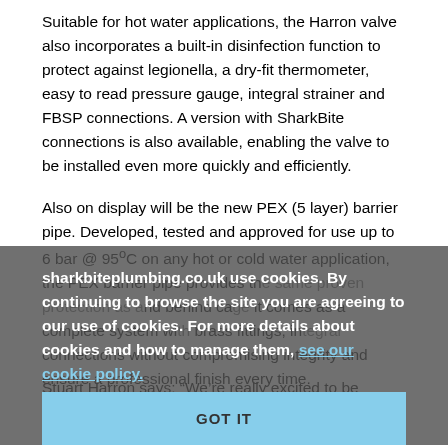Suitable for hot water applications, the Harron valve also incorporates a built-in disinfection function to protect against legionella, a dry-fit thermometer, easy to read pressure gauge, integral strainer and FBSP connections. A version with SharkBite connections is also available, enabling the valve to be installed even more quickly and efficiently.
Also on display will be the new PEX (5 layer) barrier pipe. Developed, tested and approved for use up to 6 bar @ 95ºC on any hot or cold water application, the PEX barrier pipe provides th[e] same proven protection as all barrier pipes. By d behind ca[ge] system it comes as a complete system with brass fittings, in[tegral] connections without compromising integrity and ensure a professional finish every time.
sharkbiteplumbing.co.uk use cookies. By continuing to browse the site you are agreeing to our use of cookies. For more details about cookies and how to manage them, see our cookie policy.
GOT IT
Stuart Harron says: "We're really excited to be launching so many innovative new products at the show, it's a great opportunity to